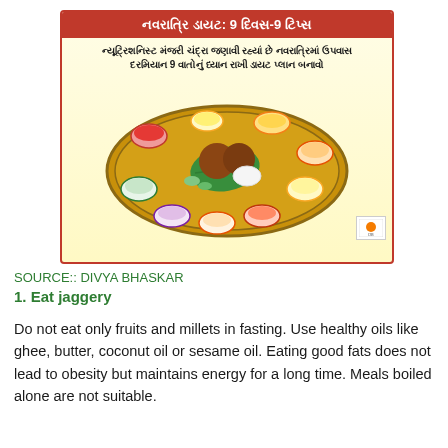[Figure (infographic): Navratri diet infographic in Gujarati showing a thali plate with various fasting foods. Header reads 'નવરાત્રિ ડાયટ: 9 દિવસ-9 ટિપ્સ' (Navratri Diet: 9 Days-9 Tips). Subtitle mentions nutritionist Manjari Chandra advising to make a diet plan keeping 9 things in mind during Navratri fasting.]
SOURCE:: DIVYA BHASKAR
1. Eat jaggery
Do not eat only fruits and millets in fasting. Use healthy oils like ghee, butter, coconut oil or sesame oil. Eating good fats does not lead to obesity but maintains energy for a long time. Meals boiled alone are not suitable.